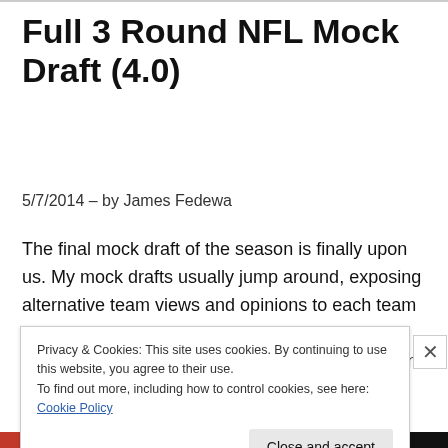Full 3 Round NFL Mock Draft (4.0)
5/7/2014 – by James Fedewa
The final mock draft of the season is finally upon us. My mock drafts usually jump around, exposing alternative team views and opinions to each team need. I do listen, recognize and reply to your comments and I incorporate what fans recommend (or insist) as everything is
Privacy & Cookies: This site uses cookies. By continuing to use this website, you agree to their use.
To find out more, including how to control cookies, see here: Cookie Policy
Close and accept